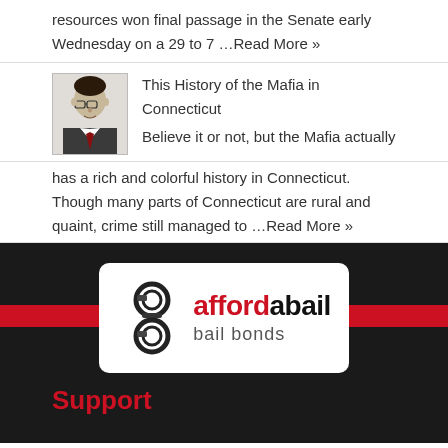resources won final passage in the Senate early Wednesday on a 29 to 7 …Read More »
This History of the Mafia in Connecticut
Believe it or not, but the Mafia actually has a rich and colorful history in Connecticut. Though many parts of Connecticut are rural and quaint, crime still managed to …Read More »
[Figure (logo): Afforda Bail bail bonds logo with handcuffs icon]
Support